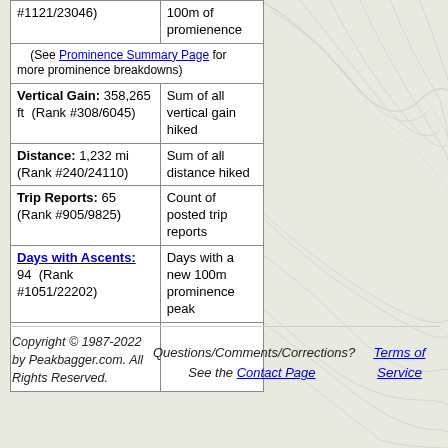| Stat | Description |
| --- | --- |
| (Rank #1121/23046) | 100m of promienence |
| (See Prominence Summary Page for more prominence breakdowns) |  |
| Vertical Gain: 358,265 ft  (Rank #308/6045) | Sum of all vertical gain hiked |
| Distance: 1,232 mi  (Rank #240/24110) | Sum of all distance hiked |
| Trip Reports: 65  (Rank #905/9825) | Count of posted trip reports |
| Days with Ascents: 94  (Rank #1051/22202) | Days with a new 100m prominence peak |
|  |  |
Copyright © 1987-2022 by Peakbagger.com. All Rights Reserved.    Questions/Comments/Corrections? See the Contact Page    Terms of Service